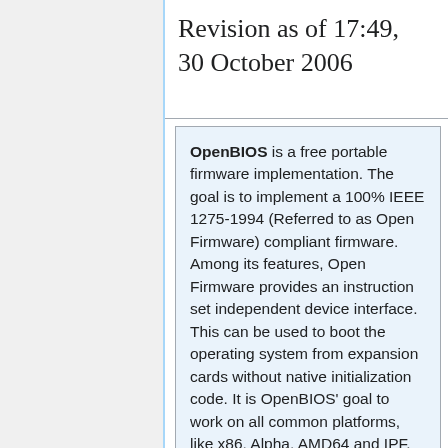Revision as of 17:49, 30 October 2006
OpenBIOS is a free portable firmware implementation. The goal is to implement a 100% IEEE 1275-1994 (Referred to as Open Firmware) compliant firmware. Among its features, Open Firmware provides an instruction set independent device interface. This can be used to boot the operating system from expansion cards without native initialization code. It is OpenBIOS' goal to work on all common platforms, like x86, Alpha, AMD64 and IPF. With its flexible and modular design, OpenBIOS also targets embedded systems, where a